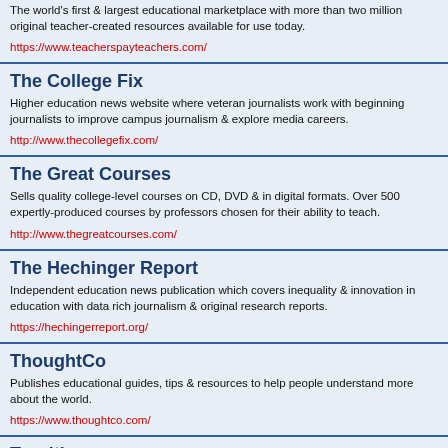The world's first & largest educational marketplace with more than two million original teacher-created resources available for use today.
https://www.teacherspayteachers.com/
The College Fix
Higher education news website where veteran journalists work with beginning journalists to improve campus journalism & explore media careers.
http://www.thecollegefix.com/
The Great Courses
Sells quality college-level courses on CD, DVD & in digital formats. Over 500 expertly-produced courses by professors chosen for their ability to teach.
http://www.thegreatcourses.com/
The Hechinger Report
Independent education news publication which covers inequality & innovation in education with data rich journalism & original research reports.
https://hechingerreport.org/
ThoughtCo
Publishes educational guides, tips & resources to help people understand more about the world.
https://www.thoughtco.com/
Turnitin